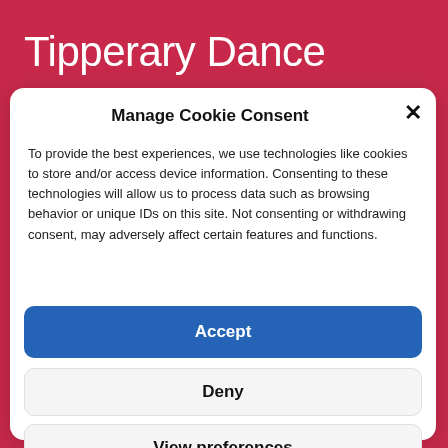Tipperary Dance
Manage Cookie Consent
To provide the best experiences, we use technologies like cookies to store and/or access device information. Consenting to these technologies will allow us to process data such as browsing behavior or unique IDs on this site. Not consenting or withdrawing consent, may adversely affect certain features and functions.
Accept
Deny
View preferences
Cookie Policy   Privacy Policy